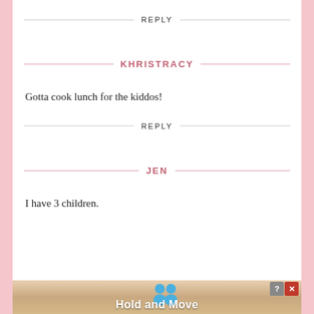REPLY
KHRISTRACY
Gotta cook lunch for the kiddos!
REPLY
JEN
I have 3 children.
[Figure (infographic): Advertisement banner showing 'Hold and Move' with cartoon character icons and close/help buttons]